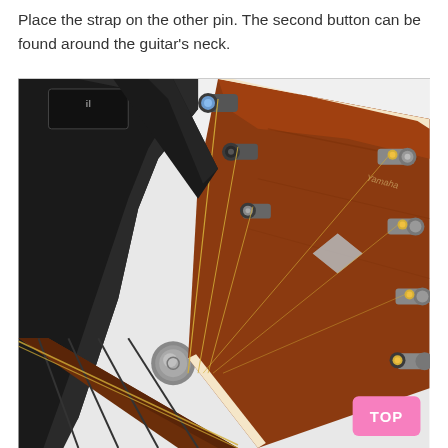Place the strap on the other pin. The second button can be found around the guitar's neck.
[Figure (photo): Close-up photo of a guitar headstock with tuning pegs and strings, with a black guitar strap attached to a strap pin. A pink 'TOP' button is visible in the bottom-right corner of the image.]